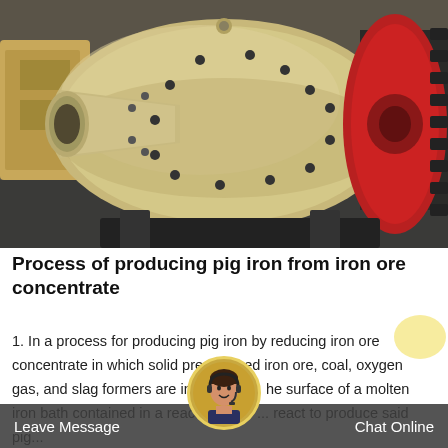[Figure (photo): Industrial ball mill machine with cream/beige colored cylindrical drum body, red flanged end with gear teeth visible on right side, large circular inlet/outlet cone on left, set in a factory/industrial environment with grey floor.]
Process of producing pig iron from iron ore concentrate
1. In a process for producing pig iron by reducing iron ore concentrate in which solid pre-reduced iron ore, coal, oxygen gas, and slag formers are injected into the surface of a molten iron bath contained in a reactor ves... react to produce said pig...
Leave Message  Chat Online